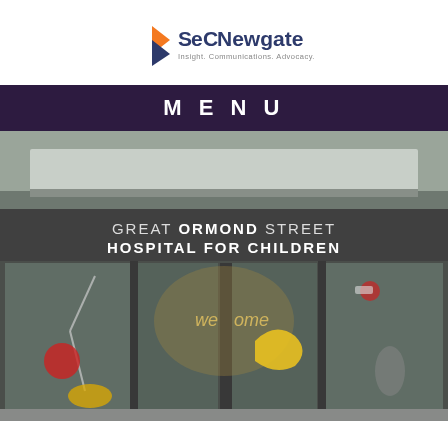[Figure (logo): SECNewgate logo — orange and dark blue angular bird/arrow mark on the left, 'SECNewgate' text in dark blue bold, subtitle 'Insight. Communications. Advocacy.' in smaller grey text below]
MENU
[Figure (photo): Exterior photo of Great Ormond Street Hospital for Children entrance. Large grey building facade with glass doors decorated with colourful painted illustrations. White block letters on the building read 'GREAT ORMOND STREET HOSPITAL FOR CHILDREN'. Welcome signage visible through glass doors.]